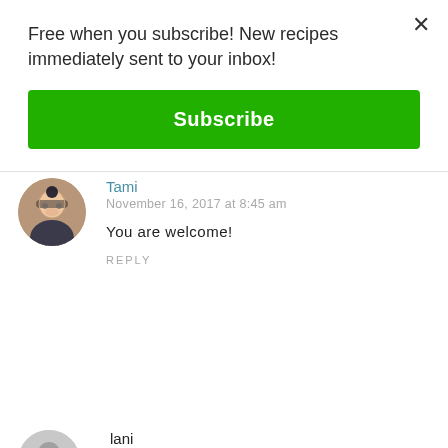Free when you subscribe! New recipes immediately sent to your inbox!
Subscribe
Tami
November 16, 2017 at 8:45 am
You are welcome!
REPLY
lani
November 16, 2017 at 11:36 am